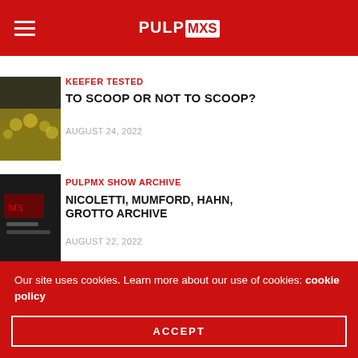PULPMXS (logo)
KEEFER TESTED
TO SCOOP OR NOT TO SCOOP?
AUGUST 24, 2022
PULPMX SHOW ARCHIVE
NICOLETTI, MUMFORD, HAHN, GROTTO ARCHIVE
AUGUST 22, 2022
[Figure (logo): EKS Brand logo on grey background with yellow X and text EKS BRAND]
Our site uses cookies. Learn more about our use of cookies: cookie policy
ACCEPT